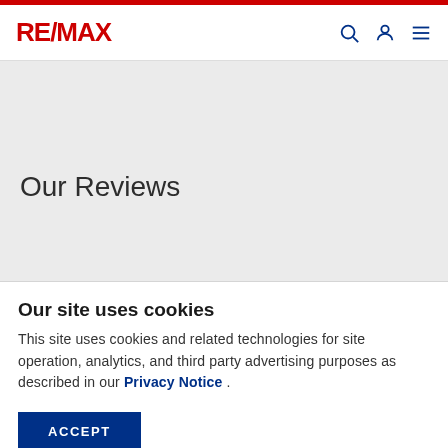RE/MAX
Our Reviews
Our site uses cookies
This site uses cookies and related technologies for site operation, analytics, and third party advertising purposes as described in our Privacy Notice .
ACCEPT